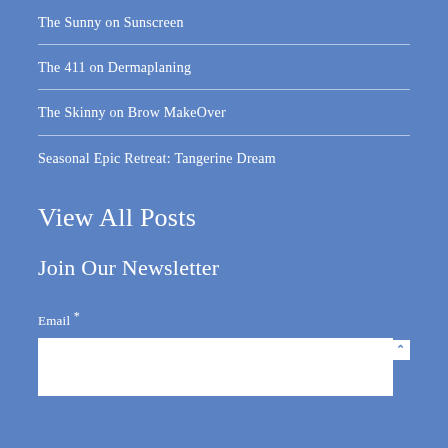The Sunny on Sunscreen
The 411 on Dermaplaning
The Skinny on Brow MakeOver
Seasonal Epic Retreat: Tangerine Dream
View All Posts
Join Our Newsletter
Email *